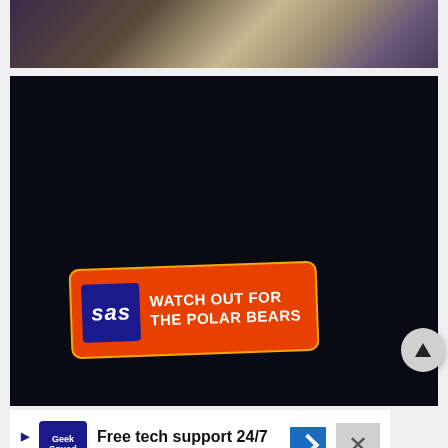[Figure (photo): Top portion of an airline interior photo showing seat area with screen and controls, dark purple/beige tones]
[Figure (photo): Dark navy/black background photo featuring an orange-red SAS airline sticker badge reading 'WATCH OUT FOR THE POLAR BEARS' with SAS logo in blue square on the left]
Free tech support 24/7
Geek Squad